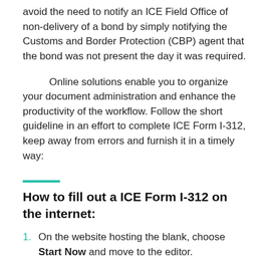avoid the need to notify an ICE Field Office of non-delivery of a bond by simply notifying the Customs and Border Protection (CBP) agent that the bond was not present the day it was required.
Online solutions enable you to organize your document administration and enhance the productivity of the workflow. Follow the short guideline in an effort to complete ICE Form I-312, keep away from errors and furnish it in a timely way:
How to fill out a ICE Form I-312 on the internet:
On the website hosting the blank, choose Start Now and move to the editor.